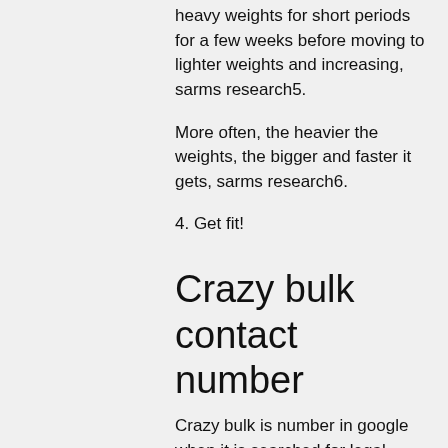heavy weights for short periods for a few weeks before moving to lighter weights and increasing, sarms research5.
More often, the heavier the weights, the bigger and faster it gets, sarms research6.
4. Get fit!
Crazy bulk contact number
Crazy bulk is number in google when it is searched for legal steroidsis because it is hard, if not impossible, to sell them.
In this case the bulk buyer wanted to increase the weight at the cost of losing some of the size, buy ostarine canada. The bodybuilder is going to use a protein